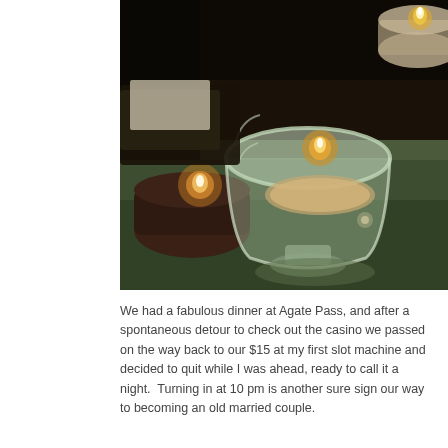[Figure (photo): Close-up photograph of tea light candles in small glass holders on a reflective green surface. Three candles are visible; the center one is in a clear glass bowl, the left one in a darker smaller holder, and the right one partially visible in the upper right corner. Warm candlelight ambiance with dark background.]
We had a fabulous dinner at Agate Pass, and after a spontaneous detour to check out the casino we passed on the way back to our $15 at my first slot machine and decided to quit while I was ahead, ready to call it a night.  Turning in at 10 pm is another sure sign our way to becoming an old married couple.